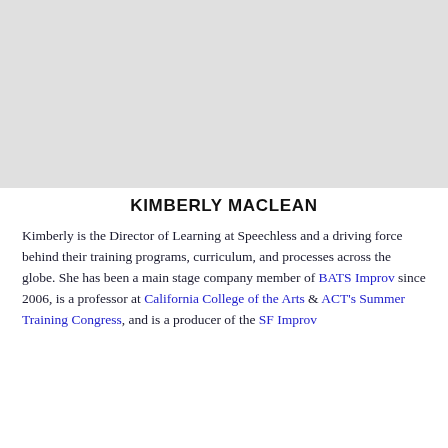[Figure (photo): Gray placeholder image area representing a portrait photo of Kimberly MacLean]
KIMBERLY MACLEAN
Kimberly is the Director of Learning at Speechless and a driving force behind their training programs, curriculum, and processes across the globe. She has been a main stage company member of BATS Improv since 2006, is a professor at California College of the Arts & ACT's Summer Training Congress, and is a producer of the SF Improv